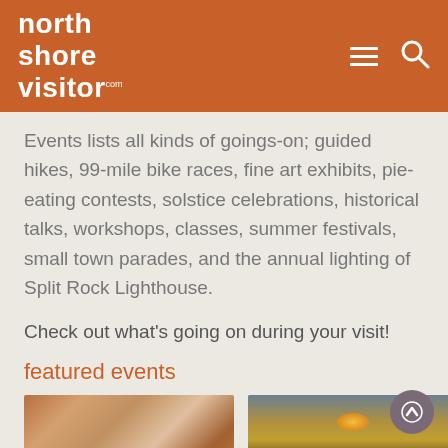north shore visitor.com
Events lists all kinds of goings-on; guided hikes, 99-mile bike races, fine art exhibits, pie-eating contests, solstice celebrations, historical talks, workshops, classes, summer festivals, small town parades, and the annual lighting of Split Rock Lighthouse.
Check out what's going on during your visit!
featured events
[Figure (photo): Close-up of colorful polished rocks or stones with orange and pink tones]
[Figure (photo): Sunset over a lake with silhouetted trees and reflective water]
[Figure (photo): Green foliage scene]
[Figure (photo): Dark/night scene]